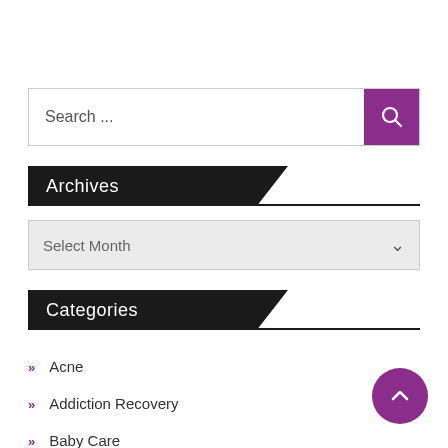Search ...
Archives
Select Month
Categories
Acne
Addiction Recovery
Baby Care
Dental